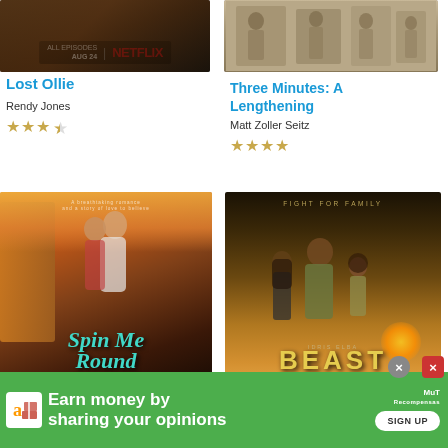[Figure (photo): Lost Ollie Netflix promotional image with text ALL EPISODES AUG 24 | NETFLIX]
Lost Ollie
Rendy Jones
[Figure (other): Star rating: 3.5 out of 5 stars]
[Figure (photo): Three Minutes: A Lengthening historical black and white photo of children]
Three Minutes: A Lengthening
Matt Zoller Seitz
[Figure (other): Star rating: 4 out of 5 stars]
[Figure (photo): Spin Me Round movie poster with romantic couple and teal title text]
[Figure (photo): Beast movie poster with Idris Elba and family, golden dramatic lighting]
[Figure (other): Advertisement banner: Earn money by sharing your opinions - Amazon/MuT Recompensas - SIGN UP]